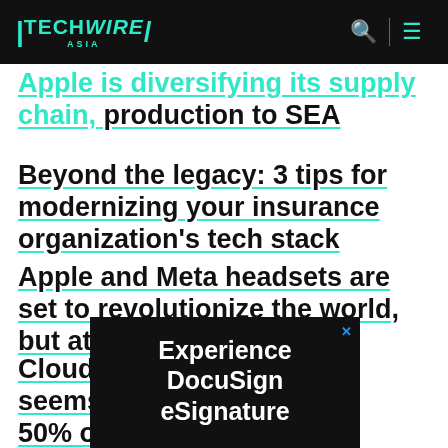TechWire Asia
Apple is diversifying its supply chain production to SEA
Beyond the legacy: 3 tips for modernizing your insurance organization's tech stack
Apple and Meta headsets are set to revolutionize the world, but at a hefty price
Cloud cost management seems to be an issue for 50% of businesses
[Figure (other): Advertisement for DocuSign eSignature on dark background]